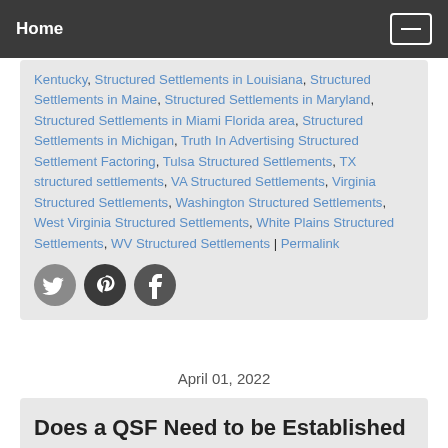Home
Kentucky, Structured Settlements in Louisiana, Structured Settlements in Maine, Structured Settlements in Maryland, Structured Settlements in Miami Florida area, Structured Settlements in Michigan, Truth In Advertising Structured Settlement Factoring, Tulsa Structured Settlements, TX structured settlements, VA Structured Settlements, Virginia Structured Settlements, Washington Structured Settlements, West Virginia Structured Settlements, White Plains Structured Settlements, WV Structured Settlements | Permalink
April 01, 2022
Does a QSF Need to be Established in Order to Structure or